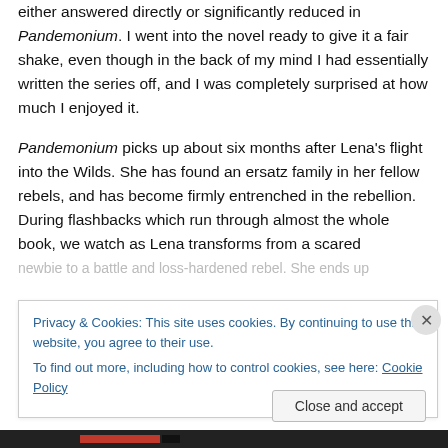either answered directly or significantly reduced in Pandemonium. I went into the novel ready to give it a fair shake, even though in the back of my mind I had essentially written the series off, and I was completely surprised at how much I enjoyed it.
Pandemonium picks up about six months after Lena's flight into the Wilds. She has found an ersatz family in her fellow rebels, and has become firmly entrenched in the rebellion. During flashbacks which run through almost the whole book, we watch as Lena transforms from a scared newbie to a battle and loss-hardened rebel. She ends up
Privacy & Cookies: This site uses cookies. By continuing to use this website, you agree to their use.
To find out more, including how to control cookies, see here: Cookie Policy
Close and accept